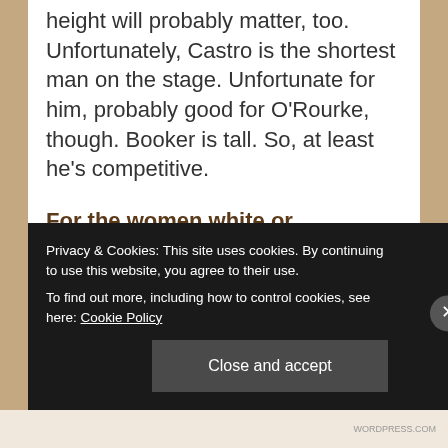Of the male candidates of color, height will probably matter, too. Unfortunately, Castro is the shortest man on the stage. Unfortunate for him, probably good for O'Rourke, though. Booker is tall. So, at least he's competitive.
For the women white or otherwise, it is a complete mystery because we've (a) never had more than one women...
Privacy & Cookies: This site uses cookies. By continuing to use this website, you agree to their use.
To find out more, including how to control cookies, see here: Cookie Policy
WORDPRESS.COM